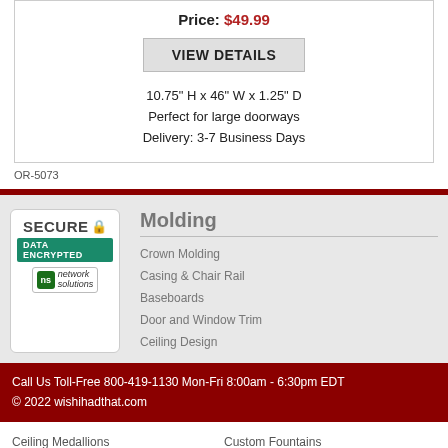Price: $49.99
VIEW DETAILS
10.75" H x 46" W x 1.25" D
Perfect for large doorways
Delivery: 3-7 Business Days
OR-5073
[Figure (logo): Secure Data Encrypted Network Solutions badge]
Molding
Crown Molding
Casing & Chair Rail
Baseboards
Door and Window Trim
Ceiling Design
Call Us Toll-Free 800-419-1130 Mon-Fri 8:00am - 6:30pm EDT
© 2022 wishihadthat.com
Ceiling Medallions
Custom Fountains
Ceiling Tiles
Wall Fountains